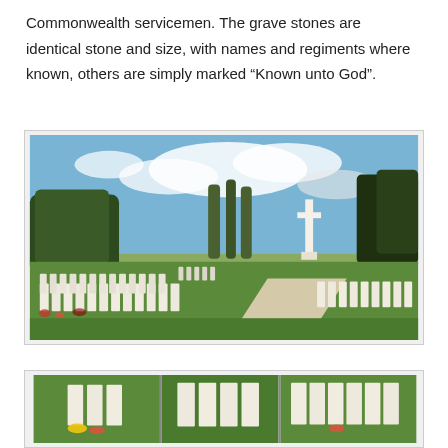Commonwealth servicemen. The grave stones are identical stone and size, with names and regiments where known, others are simply marked “Known unto God”.
[Figure (photo): A WWI Commonwealth War Graves cemetery showing rows of identical white headstones on green grass, with trees and a large white cross monument in the background under a blue sky with clouds.]
[Figure (photo): A partial view of a strip of cemetery photos showing close-up views of white headstones with flowers, appearing to be a collage or panoramic strip at the bottom of the page.]